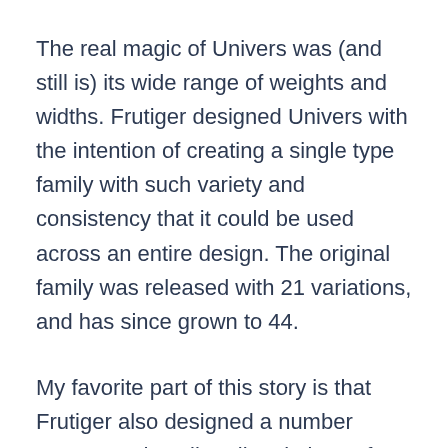The real magic of Univers was (and still is) its wide range of weights and widths. Frutiger designed Univers with the intention of creating a single type family with such variety and consistency that it could be used across an entire design. The original family was released with 21 variations, and has since grown to 44.
My favorite part of this story is that Frutiger also designed a number system to describe all variations of Univers. Each style is named Univers followed by a 2-digit number where the first describes the weight and the second describes the width. Frutiger truly considered utility first when designing his designs